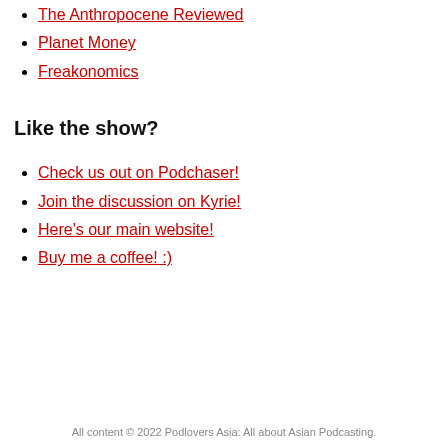The Anthropocene Reviewed
Planet Money
Freakonomics
Like the show?
Check us out on Podchaser!
Join the discussion on Kyrie!
Here's our main website!
Buy me a coffee! :)
All content © 2022 Podlovers Asia: All about Asian Podcasting.